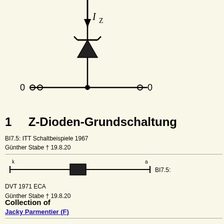[Figure (engineering-diagram): Zener diode schematic symbol with current arrow labeled I_Z pointing downward, and two terminals connected by a horizontal line with dots at ends labeled 0 0]
1   Z-Dioden-Grundschaltung
BI7.5: ITT Schaltbeispiele 1967
Günther Stabe † 19.8.20
[Figure (engineering-diagram): Physical diode component illustration showing cathode (k) and anode (a) leads with body, labeled BI7.5:]
DVT 1971 ECA
Günther Stabe † 19.8.20
Collection of
Jacky Parmentier (F)
You reach this tube or valve page from a search after clicking the "tubes" tab will find thousands of tubes or valves with interesting links. You even can loo [rmxtube-en]